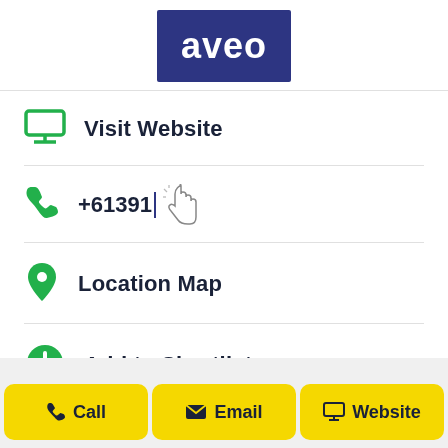[Figure (logo): Aveo logo — white text on dark navy/indigo background]
Visit Website
+61391
Location Map
Add to Shortlist
Call
Email
Website